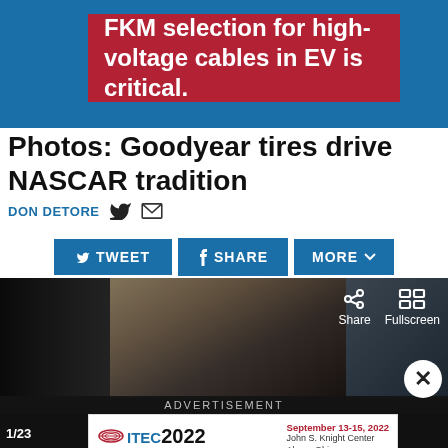[Figure (infographic): Blue header banner with red advertisement box reading: FKM selection for high-voltage cables in EV is critical.]
Photos: Goodyear tires drive NASCAR tradition
DON DETORE
[Figure (infographic): Social share buttons: TWEET, SHARE, MORE with dropdown arrow]
[Figure (photo): NASCAR pit crew working on tires, dark background. Share and Fullscreen overlay controls visible. Counter 1/23 at bottom left. ADVERTISEMENT label and ITEC 2022 inner ad overlay.]